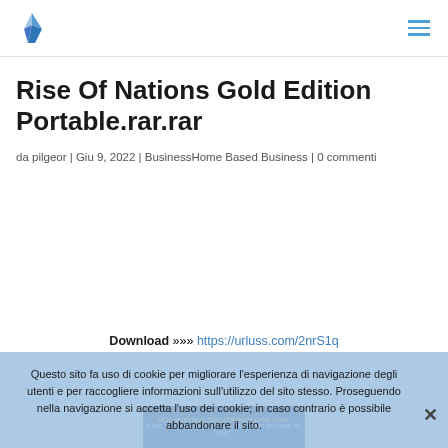[Logo] [Hamburger menu]
Rise Of Nations Gold Edition Portable.rar.rar
da pilgeor | Giu 9, 2022 | BusinessHome Based Business | 0 commenti
Download »»» https://urluss.com/2nrS1q
Questo sito fa uso di cookie per migliorare l'esperienza di navigazione degli utenti e per raccogliere informazioni sull'utilizzo del sito stesso. Proseguendo nella navigazione si accetta l'uso dei cookie; in caso contrario è possibile abbandonare il sito.
[Figure (screenshot): Game promotional image showing '10/10 BEST REAL TIME-STRATEGY GAME EVER' rating text on dark blue background]